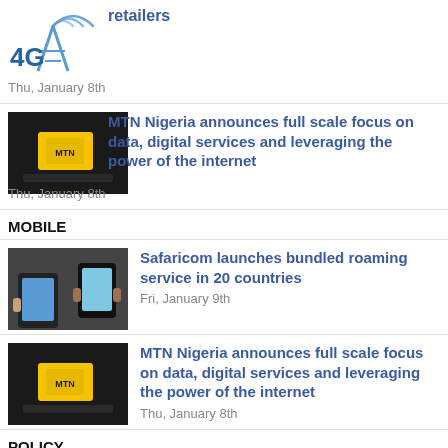[Figure (logo): 4G antenna/tower logo icon]
retailers
Thu, January 8th
[Figure (photo): Photo of a yellow MTN device on a table]
MTN Nigeria announces full scale focus on data, digital services and leveraging the power of the internet
Thu, January 8th
MOBILE
[Figure (photo): Photo of hands using mobile phones]
Safaricom launches bundled roaming service in 20 countries
Fri, January 9th
[Figure (photo): Photo of a yellow MTN device on a table]
MTN Nigeria announces full scale focus on data, digital services and leveraging the power of the internet
Thu, January 8th
POLICY
[Figure (logo): 4G antenna/tower logo icon]
Price a hindering factor to 4G uptake in Rwanda – retailers